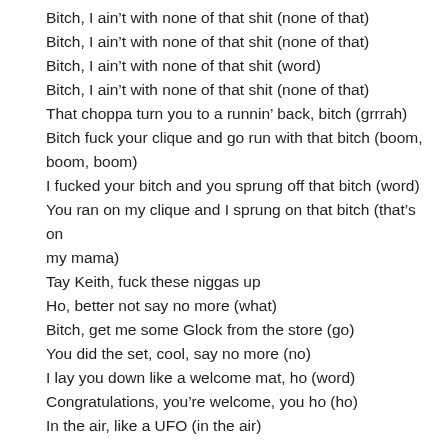Bitch, I ain't with none of that shit (none of that)
Bitch, I ain't with none of that shit (none of that)
Bitch, I ain't with none of that shit (word)
Bitch, I ain't with none of that shit (none of that)
That choppa turn you to a runnin' back, bitch (grrrah)
Bitch fuck your clique and go run with that bitch (boom, boom, boom)
I fucked your bitch and you sprung off that bitch (word)
You ran on my clique and I sprung on that bitch (that's on my mama)
Tay Keith, fuck these niggas up
Ho, better not say no more (what)
Bitch, get me some Glock from the store (go)
You did the set, cool, say no more (no)
I lay you down like a welcome mat, ho (word)
Congratulations, you're welcome, you ho (ho)
In the air, like a UFO (in the air)